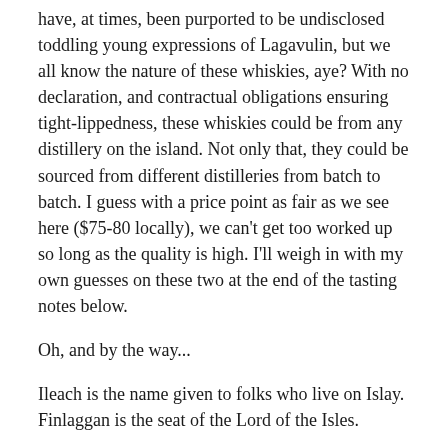have, at times, been purported to be undisclosed toddling young expressions of Lagavulin, but we all know the nature of these whiskies, aye? With no declaration, and contractual obligations ensuring tight-lippedness, these whiskies could be from any distillery on the island. Not only that, they could be sourced from different distilleries from batch to batch. I guess with a price point as fair as we see here ($75-80 locally), we can't get too worked up so long as the quality is high. I'll weigh in with my own guesses on these two at the end of the tasting notes below.
Oh, and by the way...
Ileach is the name given to folks who live on Islay. Finlaggan is the seat of the Lord of the Isles.
**(pronounced somewhere between ee-leck and ee-lack, please! And with a proper throaty Scottish 'ch' at the end, if it